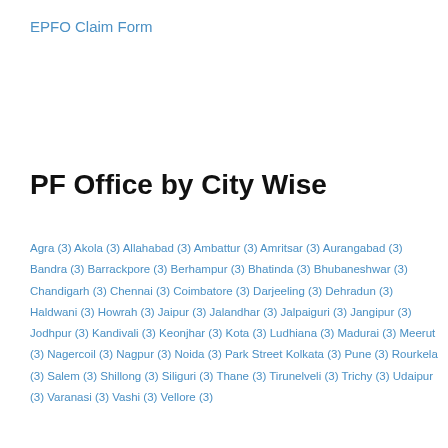EPFO Claim Form
PF Office by City Wise
Agra (3) Akola (3) Allahabad (3) Ambattur (3) Amritsar (3) Aurangabad (3) Bandra (3) Barrackpore (3) Berhampur (3) Bhatinda (3) Bhubaneshwar (3) Chandigarh (3) Chennai (3) Coimbatore (3) Darjeeling (3) Dehradun (3) Haldwani (3) Howrah (3) Jaipur (3) Jalandhar (3) Jalpaiguri (3) Jangipur (3) Jodhpur (3) Kandivali (3) Keonjhar (3) Kota (3) Ludhiana (3) Madurai (3) Meerut (3) Nagercoil (3) Nagpur (3) Noida (3) Park Street Kolkata (3) Pune (3) Rourkela (3) Salem (3) Shillong (3) Siliguri (3) Thane (3) Tirunelveli (3) Trichy (3) Udaipur (3) Varanasi (3) Vashi (3) Vellore (3)